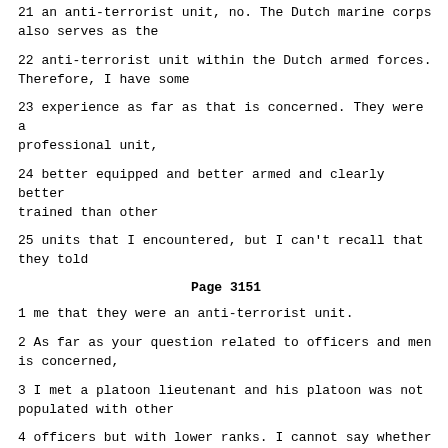21 an anti-terrorist unit, no. The Dutch marine corps also serves as the
22 anti-terrorist unit within the Dutch armed forces. Therefore, I have some
23 experience as far as that is concerned. They were a professional unit,
24 better equipped and better armed and clearly better trained than other
25 units that I encountered, but I can't recall that they told
Page 3151
1 me that they were an anti-terrorist unit.
2 As far as your question related to officers and men is concerned,
3 I met a platoon lieutenant and his platoon was not populated with other
4 officers but with lower ranks. I cannot say whether it was -- that we met
5 all 30 men of what would have been a standard platoon size but I certainly